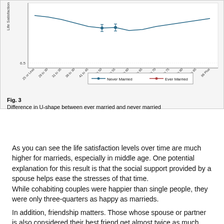[Figure (line-chart): Difference in U-shape between ever married and never married]
Fig. 3
Difference in U-shape between ever married and never married
As you can see the life satisfaction levels over time are much higher for marrieds, especially in middle age. One potential explanation for this result is that the social support provided by a spouse helps ease the stresses of that time.
While cohabiting couples were happier than single people, they were only three-quarters as happy as marrieds.
In addition, friendship matters. Those whose spouse or partner is also considered their best friend get almost twice as much additional life satisfaction from marriage or cohabitation as do